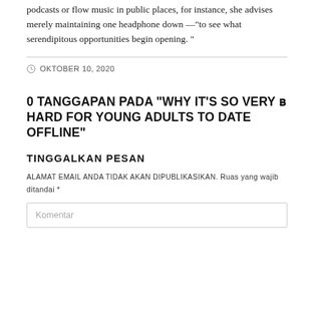podcasts or flow music in public places, for instance, she advises merely maintaining one headphone down —"to see what serendipitous opportunities begin opening. "
OKTOBER 10, 2020
0 TANGGAPAN PADA "WHY IT'S SO VERY 🔊 HARD FOR YOUNG ADULTS TO DATE OFFLINE"
TINGGALKAN PESAN
ALAMAT EMAIL ANDA TIDAK AKAN DIPUBLIKASIKAN. Ruas yang wajib ditandai *
Komentar